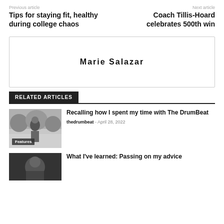Previous article
Tips for staying fit, healthy during college chaos
Next article
Coach Tillis-Hoard celebrates 500th win
[Figure (other): Author photo placeholder box with author name Marie Salazar]
RELATED ARTICLES
[Figure (photo): Black and white photo of a person outdoors with trees in the background, tagged Features]
Recalling how I spent my time with The DrumBeat
thedrumbeat - April 28, 2022
[Figure (photo): Black and white photo partially visible at bottom]
What I've learned: Passing on my advice